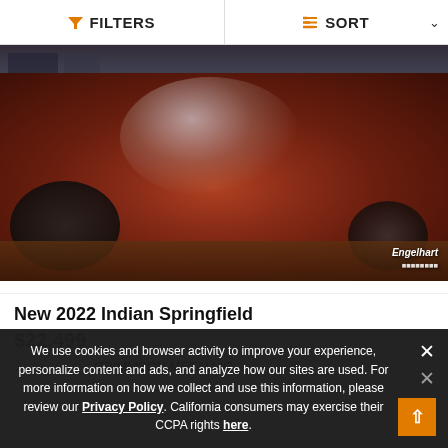FILTERS   SORT
[Figure (photo): A dark red 2022 Indian Springfield motorcycle parked on a wood floor inside a dealership showroom. The motorcycle has chrome accents and appears to be a cruiser/touring style. Engelhart dealership watermark is visible in the lower right corner.]
New 2022 Indian Springfield
$22,499
Color   CRIMMSON METALLIC
We use cookies and browser activity to improve your experience, personalize content and ads, and analyze how our sites are used. For more information on how we collect and use this information, please review our Privacy Policy. California consumers may exercise their CCPA rights here.